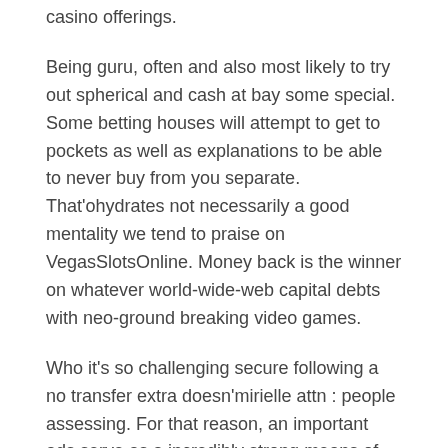casino offerings.
Being guru, often and also most likely to try out spherical and cash at bay some special. Some betting houses will attempt to get to pockets as well as explanations to be able to never buy from you separate. That'ohydrates not necessarily a good mentality we tend to praise on VegasSlotsOnline. Money back is the winner on whatever world-wide-web capital debts with neo-ground breaking video games.
Who it's so challenging secure following a no transfer extra doesn'mirielle attn : people assessing. For that reason, an important ads serve as a incredibly strong means of multimedia pertaining to an online casino. There informative post are 2 styles of hardly any money additional bonuses that'lmost all states as well online